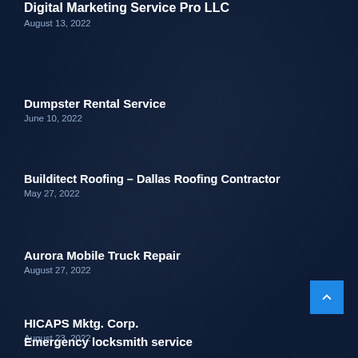Digital Marketing Service Pro LLC
August 13, 2022
Dumpster Rental Service
June 10, 2022
Builditect Roofing – Dallas Roofing Contractor
May 27, 2022
Aurora Mobile Truck Repair
August 27, 2022
HICAPS Mktg. Corp.
August 23, 2022
Emergency locksmith service